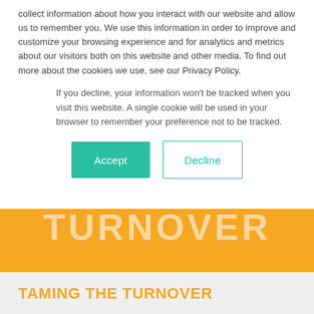collect information about how you interact with our website and allow us to remember you. We use this information in order to improve and customize your browsing experience and for analytics and metrics about our visitors both on this website and other media. To find out more about the cookies we use, see our Privacy Policy.
If you decline, your information won't be tracked when you visit this website. A single cookie will be used in your browser to remember your preference not to be tracked.
[Figure (other): Two buttons: Accept (teal/green filled) and Decline (white with teal border)]
[Figure (other): Orange banner with large watermark text: TURNOVER]
TAMING THE TURNOVER